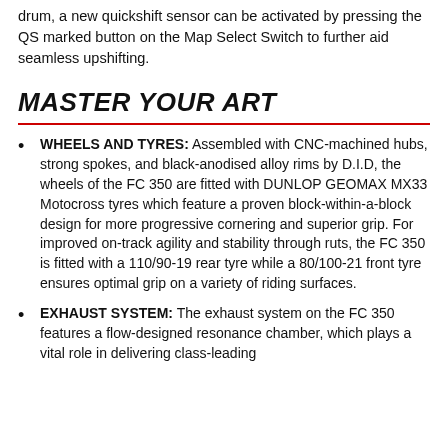drum, a new quickshift sensor can be activated by pressing the QS marked button on the Map Select Switch to further aid seamless upshifting.
MASTER YOUR ART
WHEELS AND TYRES: Assembled with CNC-machined hubs, strong spokes, and black-anodised alloy rims by D.I.D, the wheels of the FC 350 are fitted with DUNLOP GEOMAX MX33 Motocross tyres which feature a proven block-within-a-block design for more progressive cornering and superior grip. For improved on-track agility and stability through ruts, the FC 350 is fitted with a 110/90-19 rear tyre while a 80/100-21 front tyre ensures optimal grip on a variety of riding surfaces.
EXHAUST SYSTEM: The exhaust system on the FC 350 features a flow-designed resonance chamber, which plays a vital role in delivering class-leading